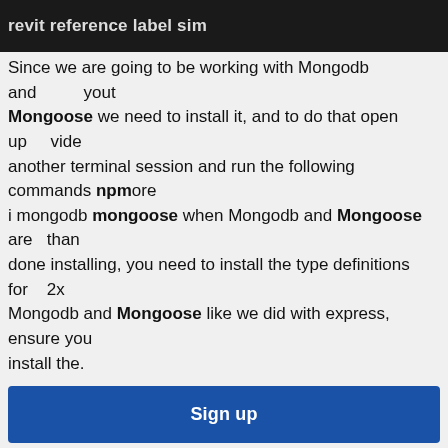revit reference label sim
Since we are going to be working with Mongodb and Mongoose we need to install it, and to do that open up another terminal session and run the following commands npm i mongodb mongoose when Mongodb and Mongoose are done installing, you need to install the type definitions for Mongodb and Mongoose like we did with express, ensure you install the.
Sign up
[Figure (other): The Washington Post logo and subscription card with text 'dentil crown molding' and input field showing 'odinblade umbra']